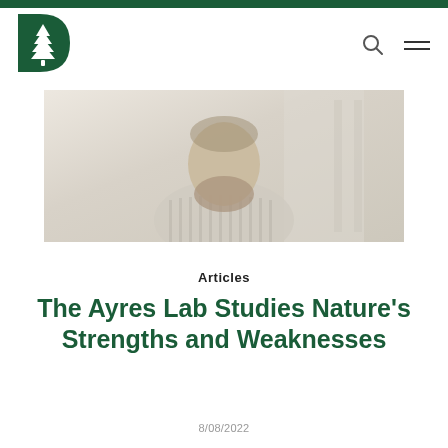[Figure (logo): Dartmouth College green D with pine tree logo]
[Figure (photo): A bearded man in a striped shirt, faded/muted tone, seated in what appears to be a lab or office environment]
Articles
The Ayres Lab Studies Nature's Strengths and Weaknesses
8/08/2022